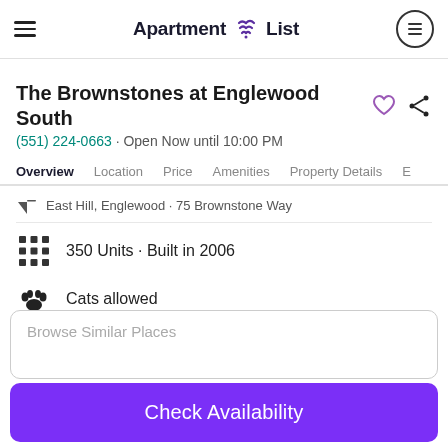Apartment List
The Brownstones at Englewood South
(551) 224-0663 · Open Now until 10:00 PM
Overview  Location  Price  Amenities  Property Details  E
East Hill, Englewood · 75 Brownstone Way
350 Units · Built in 2006
Cats allowed
Dogs allowed
Browse Similar Places
Check Availability